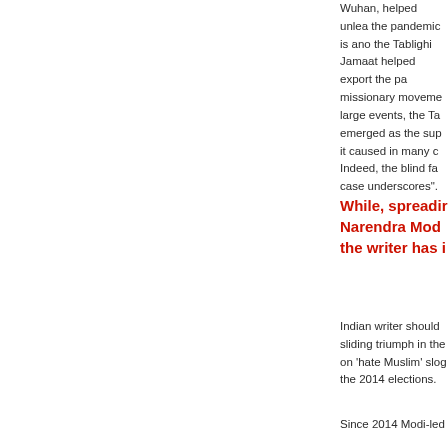Wuhan, helped unleash the pandemic is anothe the Tablighi Jamaat ( helped export the pa missionary moveme large events, the Tab emerged as the supe it caused in many co Indeed, the blind fait case underscores".
While, spreadin Narendra Mod the writer has i
Indian writer should sliding triumph in the on 'hate Muslim' slog the 2014 elections.
Since 2014 Modi-led